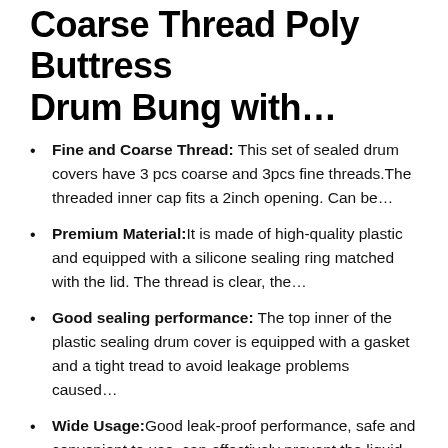Coarse Thread Poly Buttress Drum Bung with…
Fine and Coarse Thread: This set of sealed drum covers have 3 pcs coarse and 3pcs fine threads.The threaded inner cap fits a 2inch opening. Can be…
Premium Material:It is made of high-quality plastic and equipped with a silicone sealing ring matched with the lid. The thread is clear, the…
Good sealing performance: The top inner of the plastic sealing drum cover is equipped with a gasket and a tight tread to avoid leakage problems caused…
Wide Usage:Good leak-proof performance, safe and convenient to use, can effectively prevent the liquid in the container from being polluted by the…
AFTER SALE SERVICE : If you have any questions about the product, just CONTACT US directly, we will